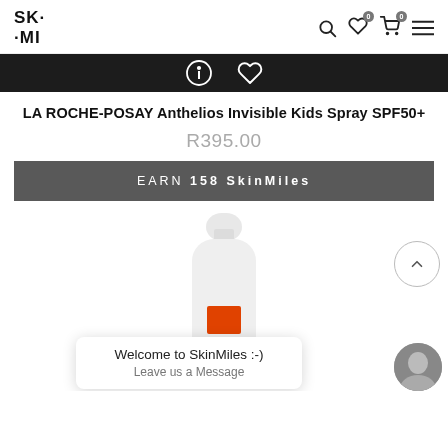SK·MI
[Figure (screenshot): Dark banner with info icon (circle-i) and heart icon in white outline]
LA ROCHE-POSAY Anthelios Invisible Kids Spray SPF50+
R395.00
EARN 158 SkinMiles
[Figure (photo): LA Roche-Posay Anthelios sunscreen spray bottle, white with orange label, partially visible]
Welcome to SkinMiles :-)
Leave us a Message